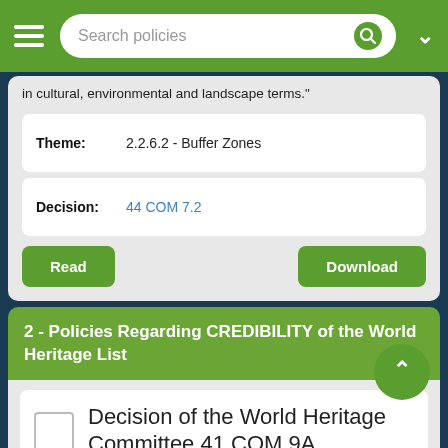Search policies
in cultural, environmental and landscape terms."
| Field | Value |
| --- | --- |
| Theme: | 2.2.6.2 - Buffer Zones |
| Decision: | 44 COM 7.2 |
Read | Download
2 - Policies Regarding CREDIBILITY of the World Heritage List
Decision of the World Heritage Committee 41 COM 9A
4. "[The World Heritage Committee] (…) recalls that, in order to be effective, the upstream support should ideally